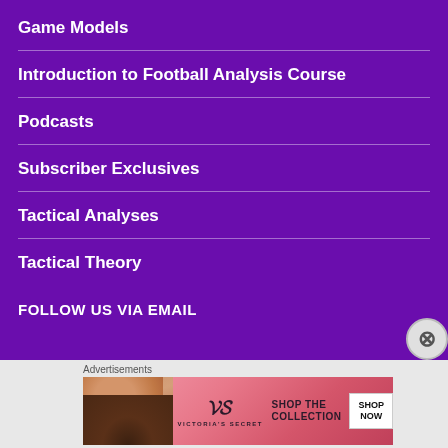Game Models
Introduction to Football Analysis Course
Podcasts
Subscriber Exclusives
Tactical Analyses
Tactical Theory
FOLLOW US VIA EMAIL
[Figure (advertisement): Victoria's Secret advertisement banner with model and 'SHOP THE COLLECTION / SHOP NOW' text]